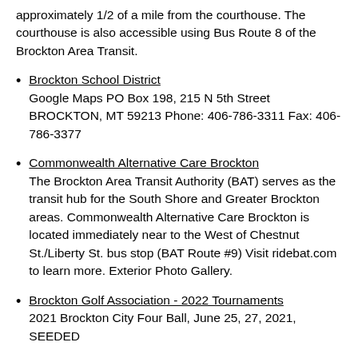approximately 1/2 of a mile from the courthouse. The courthouse is also accessible using Bus Route 8 of the Brockton Area Transit.
Brockton School District
Google Maps PO Box 198, 215 N 5th Street BROCKTON, MT 59213 Phone: 406-786-3311 Fax: 406-786-3377
Commonwealth Alternative Care Brockton
The Brockton Area Transit Authority (BAT) serves as the transit hub for the South Shore and Greater Brockton areas. Commonwealth Alternative Care Brockton is located immediately near to the West of Chestnut St./Liberty St. bus stop (BAT Route #9) Visit ridebat.com to learn more. Exterior Photo Gallery.
Brockton Golf Association - 2022 Tournaments
2021 Brockton City Four Ball, June 25, 27, 2021, SEEDED